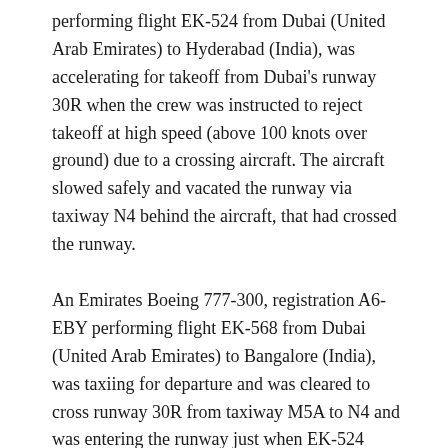performing flight EK-524 from Dubai (United Arab Emirates) to Hyderabad (India), was accelerating for takeoff from Dubai's runway 30R when the crew was instructed to reject takeoff at high speed (above 100 knots over ground) due to a crossing aircraft. The aircraft slowed safely and vacated the runway via taxiway N4 behind the aircraft, that had crossed the runway.
An Emirates Boeing 777-300, registration A6-EBY performing flight EK-568 from Dubai (United Arab Emirates) to Bangalore (India), was taxiing for departure and was cleared to cross runway 30R from taxiway M5A to N4 and was entering the runway just when EK-524 began the takeoff roll.
According to information The Aviation Herald received from two independent sources, EK-524